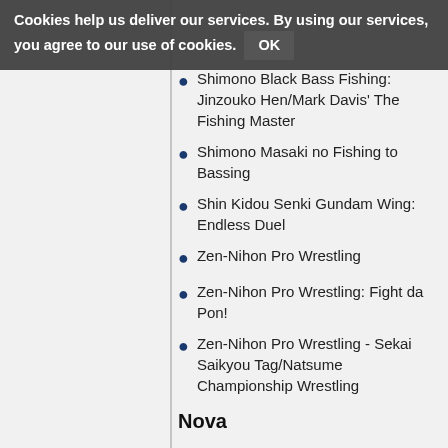Cookies help us deliver our services. By using our services, you agree to our use of cookies. OK
Shimono Black Bass Fishing: Jinzouko Hen/Mark Davis' The Fishing Master
Shimono Masaki no Fishing to Bassing
Shin Kidou Senki Gundam Wing: Endless Duel
Zen-Nihon Pro Wrestling
Zen-Nihon Pro Wrestling: Fight da Pon!
Zen-Nihon Pro Wrestling - Sekai Saikyou Tag/Natsume Championship Wrestling
Nova
3x3 Eyes - Seima Kourinden (two different builds)
Arkanoid: Doh it Again
Battle Dodgeball